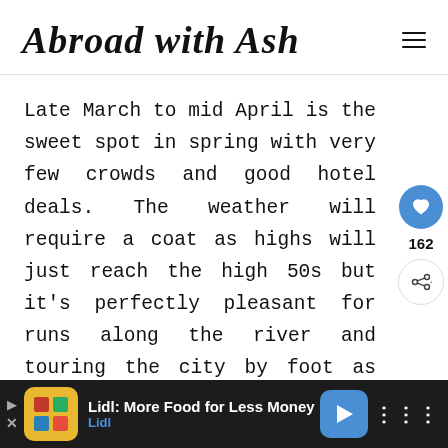Abroad with Ash
Late March to mid April is the sweet spot in spring with very few crowds and good hotel deals. The weather will require a coat as highs will just reach the high 50s but it's perfectly pleasant for runs along the river and touring the city by foot as long as you dress appropriately. Pack an umbrella and dress in layers as it
Lidl: More Food for Less Money — Lidl